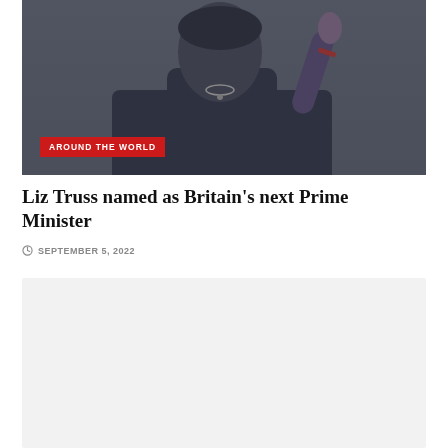[Figure (photo): Photo of a person (Liz Truss) in dark clothing with one hand raised, against a dark grey background. A red 'AROUND THE WORLD' tag badge is overlaid at the bottom left of the image.]
Liz Truss named as Britain's next Prime Minister
SEPTEMBER 5, 2022